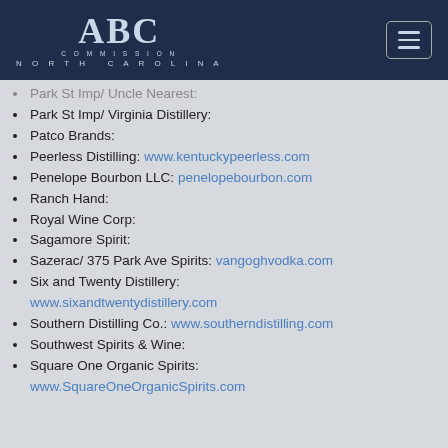ABC Commission North Carolina
Park St Imp/ Uncle Nearest:
Park St Imp/ Virginia Distillery:
Patco Brands:
Peerless Distilling: www.kentuckypeerless.com
Penelope Bourbon LLC: penelopebourbon.com
Ranch Hand:
Royal Wine Corp:
Sagamore Spirit:
Sazerac/ 375 Park Ave Spirits: vangoghvodka.com
Six and Twenty Distillery: www.sixandtwentydistillery.com
Southern Distilling Co.: www.southerndistilling.com
Southwest Spirits & Wine:
Square One Organic Spirits: www.SquareOneOrganicSpirits.com